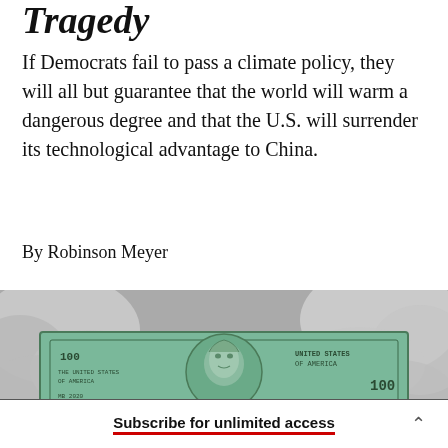Tragedy
If Democrats fail to pass a climate policy, they will all but guarantee that the world will warm a dangerous degree and that the U.S. will surrender its technological advantage to China.
By Robinson Meyer
[Figure (photo): A US $100 bill with Benjamin Franklin's portrait surrounded by gray smoke clouds, rendered in desaturated tones with a teal-tinted bill in the center.]
Subscribe for unlimited access